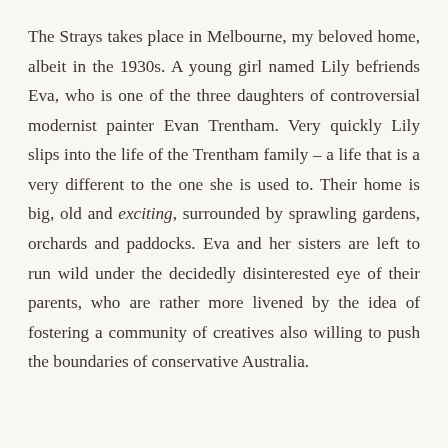The Strays takes place in Melbourne, my beloved home, albeit in the 1930s. A young girl named Lily befriends Eva, who is one of the three daughters of controversial modernist painter Evan Trentham. Very quickly Lily slips into the life of the Trentham family – a life that is a very different to the one she is used to. Their home is big, old and exciting, surrounded by sprawling gardens, orchards and paddocks. Eva and her sisters are left to run wild under the decidedly disinterested eye of their parents, who are rather more livened by the idea of fostering a community of creatives also willing to push the boundaries of conservative Australia.